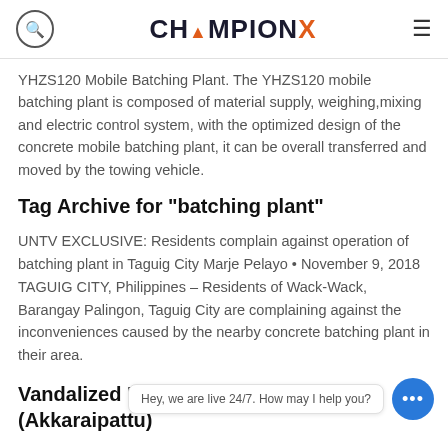ChampionX
YHZS120 Mobile Batching Plant. The YHZS120 mobile batching plant is composed of material supply, weighing,mixing and electric control system, with the optimized design of the concrete mobile batching plant, it can be overall transferred and moved by the towing vehicle.
Tag Archive for "batching plant"
UNTV EXCLUSIVE: Residents complain against operation of batching plant in Taguig City Marje Pelayo • November 9, 2018 TAGUIG CITY, Philippines – Residents of Wack-Wack, Barangay Palingon, Taguig City are complaining against the inconveniences caused by the nearby concrete batching plant in their area.
Vandalized Heritage Around Saguna (Akkaraipattu)